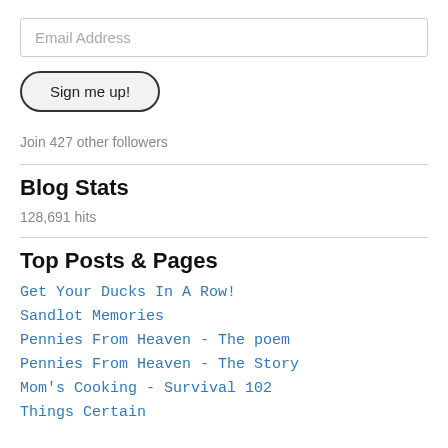Email Address
[Figure (other): Sign me up! button with rounded pill shape and dark border]
Join 427 other followers
Blog Stats
128,691 hits
Top Posts & Pages
Get Your Ducks In A Row!
Sandlot Memories
Pennies From Heaven - The poem
Pennies From Heaven - The Story
Mom's Cooking - Survival 102
Things Certain